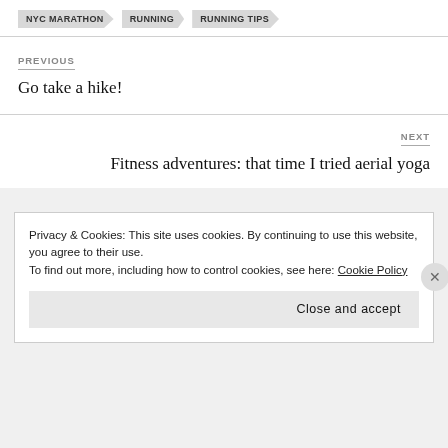NYC MARATHON
RUNNING
RUNNING TIPS
PREVIOUS
Go take a hike!
NEXT
Fitness adventures: that time I tried aerial yoga
Privacy & Cookies: This site uses cookies. By continuing to use this website, you agree to their use.
To find out more, including how to control cookies, see here: Cookie Policy
Close and accept